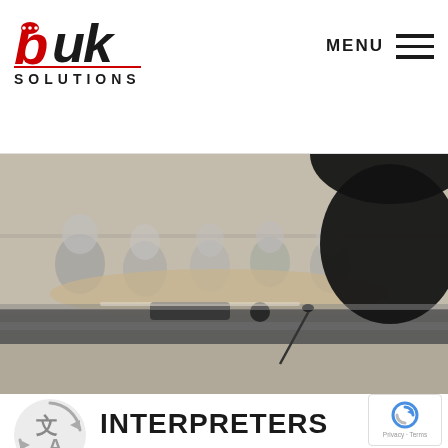buk SOLUTIONS — MENU
[Figure (photo): An interpreter sits in a glass-walled booth looking at a conference room where participants sit around a table with microphones on the desk in the foreground.]
[Figure (illustration): Gray circular translation/language icon with Chinese character and letter A with arrows indicating translation between languages.]
INTERPRETERS
[Figure (other): Google reCAPTCHA badge with Privacy and Terms links.]